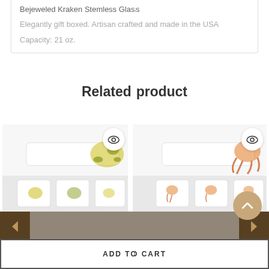Bejeweled Kraken Stemless Glass
Elegantly gift boxed. Artisan crafted and made in the USA
Capacity: 21 oz.
Related product
[Figure (photo): Product photo of a white rectangular serving platter set with a sea turtle design on the right side, and small white dipping bowls below with turtle motifs]
[Figure (photo): Product photo of a white rectangular serving platter set with an octopus/kraken design on the right side, and small white dipping bowls below with octopus motifs]
ADD TO CART